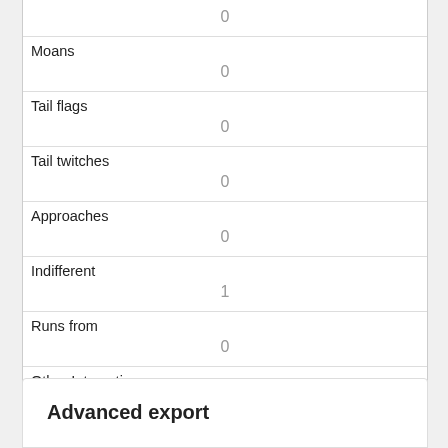| Field | Value |
| --- | --- |
|  | 0 |
| Moans | 0 |
| Tail flags | 0 |
| Tail twitches | 0 |
| Approaches | 0 |
| Indifferent | 1 |
| Runs from | 0 |
| Other Interactions |  |
| Lat/Long | POINT (-73.9688817006443 40.7829120321438) |
Advanced export